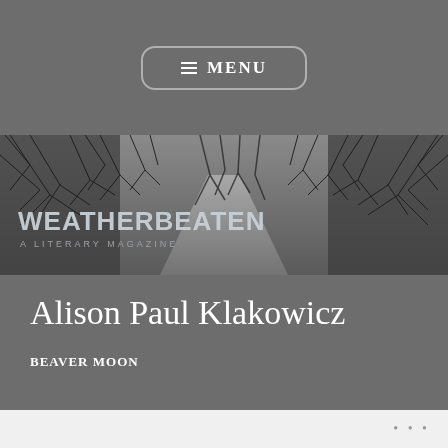≡ MENU
[Figure (illustration): Black and white banner image showing a narrow path through bare winter trees, with the text 'WEATHERBEATEN A LITERARY MAGAZINE' overlaid on the lower left]
Alison Paul Klakowicz
BEAVER MOON